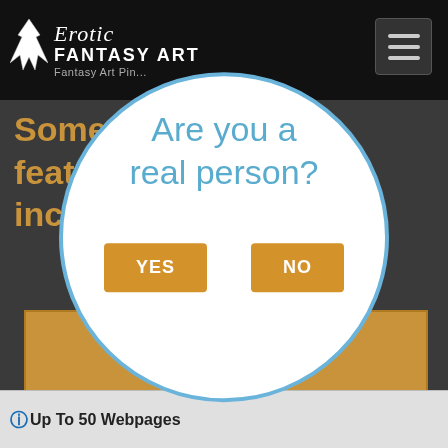[Figure (screenshot): Website header with Erotic Fantasy Art logo (stylized bird icon, serif italic 'Erotic', bold 'FANTASY ART', subtitle 'Fantasy Art Pin...') on black background, with hamburger menu icon top right]
Some of our tools & features include...
[Figure (other): CAPTCHA-style modal dialog circle with light blue border on white background containing text 'Are you a real person?' in blue, with YES and NO buttons in gold/orange]
Up To 50 Webpages